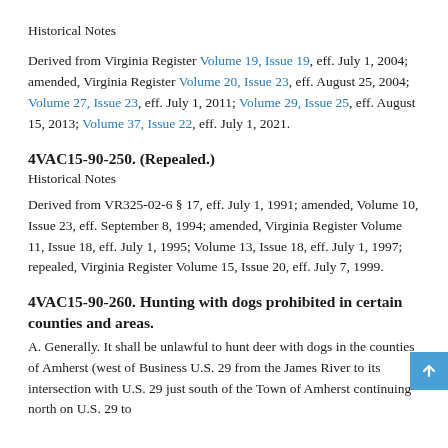Historical Notes
Derived from Virginia Register Volume 19, Issue 19, eff. July 1, 2004; amended, Virginia Register Volume 20, Issue 23, eff. August 25, 2004; Volume 27, Issue 23, eff. July 1, 2011; Volume 29, Issue 25, eff. August 15, 2013; Volume 37, Issue 22, eff. July 1, 2021.
4VAC15-90-250. (Repealed.)
Historical Notes
Derived from VR325-02-6 § 17, eff. July 1, 1991; amended, Volume 10, Issue 23, eff. September 8, 1994; amended, Virginia Register Volume 11, Issue 18, eff. July 1, 1995; Volume 13, Issue 18, eff. July 1, 1997; repealed, Virginia Register Volume 15, Issue 20, eff. July 7, 1999.
4VAC15-90-260. Hunting with dogs prohibited in certain counties and areas.
A. Generally. It shall be unlawful to hunt deer with dogs in the counties of Amherst (west of Business U.S. 29 from the James River to its intersection with U.S. 29 just south of the Town of Amherst continuing north on U.S. 29 to